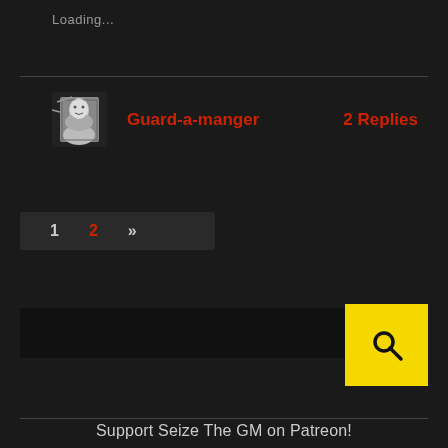Loading...
[Figure (screenshot): User avatar - black and white photo of a person]
Guard-a-manger
2 Replies
1   2   »
[Figure (other): Yellow search button with magnifying glass icon]
Support Seize The GM on Patreon!